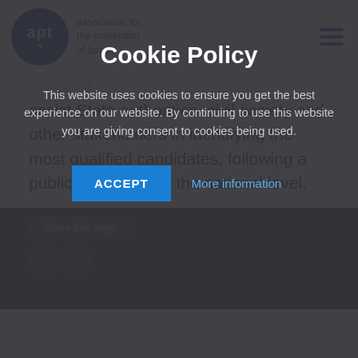association for the prevention of torture
assist State authorities, civil society and other stakeholders in identifying the most qualified candidates, following a public procedure at the national level.
Cookie Policy
This website uses cookies to ensure you get the best experience on our website. By continuing to use this website you are giving consent to cookies being used.
ACCEPT   More information